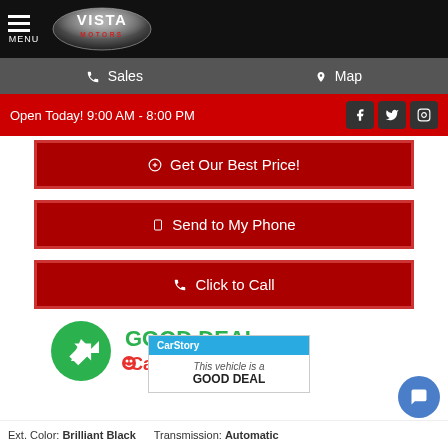[Figure (logo): Vista Motors logo on black header bar with hamburger menu and MENU label]
Sales   Map
Open Today! 9:00 AM - 8:00 PM
$ Get Our Best Price!
Send to My Phone
Click to Call
[Figure (logo): CarGurus Good Deal badge with green arrow circle and CarGurus logo]
[Figure (infographic): CarStory box showing This vehicle is a GOOD DEAL]
Ext. Color: Brilliant Black — Transmission: Automatic